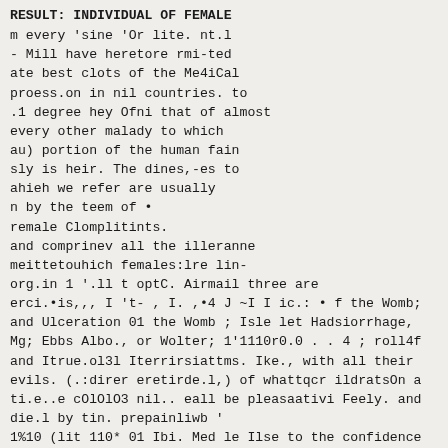RESULT: INDIVIDUAL OF FEMALE
m every 'sine 'Or lite. nt.l
- Mill have heretore rmi-ted
ate best clots of the Me4iCal
proess.on in nil countries. to
.1 degree hey Ofni that of almost
every other malady to which
au) portion of the human fain
sly is heir. The dines,-es to
ahieh we refer are usually
n by the teem of •
remale Clomplitints.
and comprinev all the illeranne
meittetouhich females:lre lin-
org.in 1 '.ll t optC. Airmail three are
erci.•is,,, I 't- , I. ,•4 J ~I I ic.: • f the Womb;
and Ulceration 01 the Womb ; Isle let Hadsiorrhage,
Mg; Ebbs Albo., or Wolter; 1'1110r0.0 . . 4 ; roll4f
and Itrue.ol3l Iterrirsiattms. Ike., with all their
evils. (.:direr eretirde.l,) of whattqcr ildratsOn a
ti.e..e cOlOlO3 nil.. eall be pleasaativi Feely. and
die.l by tin. prepainliwb '
1%10 (lit 110* 01 Ibi. Med le Ilse to the confidence
rireirrhetted it the tact of ii• lcsvin.2 reee.ved t
and lito•al nafrot,tit- of many jos:minden; for othe